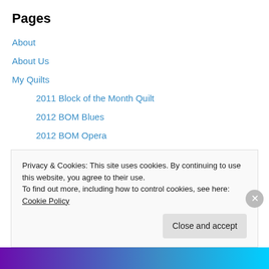Pages
About
About Us
My Quilts
2011 Block of the Month Quilt
2012 BOM Blues
2012 BOM Opera
2015 BOM Bridges of Madison County
Asian Shadowbox
Ava Nicole
Blankets of Love
Blue Hydrangea
Privacy & Cookies: This site uses cookies. By continuing to use this website, you agree to their use.
To find out more, including how to control cookies, see here: Cookie Policy
Close and accept